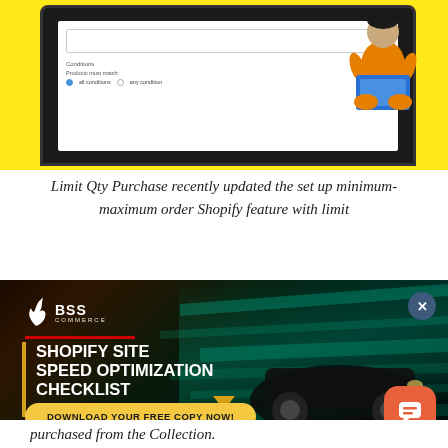[Figure (screenshot): Screenshot of a Shopify app interface showing product conditions settings with 'all conditions' and 'any condition' radio button options, overlaid on a yellow background with a person sitting cross-legged illustration]
Limit Qty Purchase recently updated the set up minimum-maximum order Shopify feature with limit
[Figure (photo): BSS Commerce popup advertisement overlay showing 'SHOPIFY SITE SPEED OPTIMIZATION CHECKLIST' with a dark background featuring a speeding car with motion blur in teal/cyan tones. Includes a gold vertical bar beside headline text, BSS Commerce logo at top left, a close X button at top right, a yellow 'DOWNLOAD YOUR FREE COPY NOW!' button at bottom, and an orange chat button at bottom right.]
purchased from the Collection.